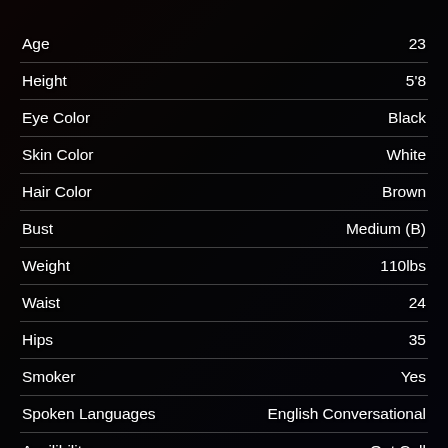| Attribute | Value |
| --- | --- |
| Age | 23 |
| Height | 5'8 |
| Eye Color | Black |
| Skin Color | White |
| Hair Color | Brown |
| Bust | Medium (B) |
| Weight | 110lbs |
| Waist | 24 |
| Hips | 35 |
| Smoker | Yes |
| Spoken Languages | English Conversational |
| Availibility | Out Call |